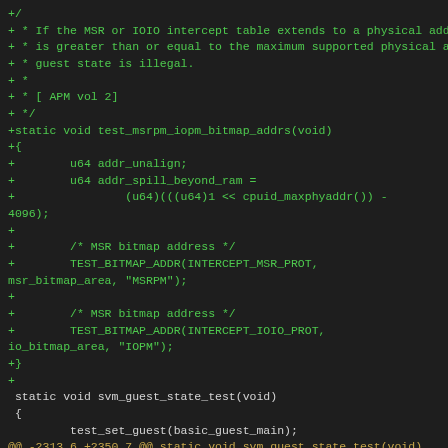Code diff showing test_msrpm_iopm_bitmap_addrs function and svm_guest_state_test context